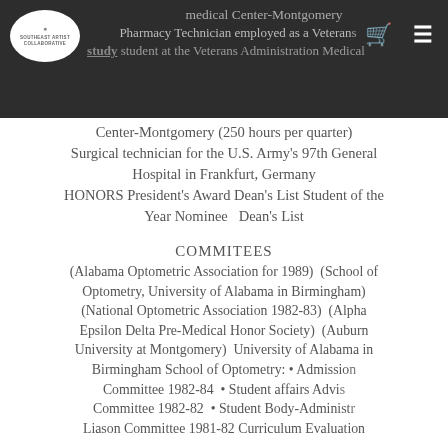medical Center-Montgomery / Pharmacy Technician employed as a Veterans study student at the Veterans Administration Medical
Center-Montgomery (250 hours per quarter) Surgical technician for the U.S. Army's 97th General Hospital in Frankfurt, Germany HONORS President's Award Dean's List Student of the Year Nominee  Dean's List
COMMITEES
(Alabama Optometric Association for 1989)  (School of Optometry, University of Alabama in Birmingham)  (National Optometric Association 1982-83)  (Alpha Epsilon Delta Pre-Medical Honor Society)  (Auburn University at Montgomery)  University of Alabama in Birmingham School of Optometry: • Admissions Committee 1982-84  • Student affairs Advisory Committee 1982-82  • Student Body-Administrative Liason Committee 1981-82 Curriculum Evaluation